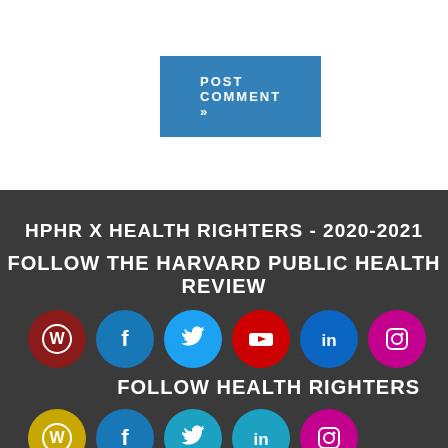POST COMMENT »
HPHR X HEALTH RIGHTERS - 2020-2021
FOLLOW THE HARVARD PUBLIC HEALTH REVIEW
[Figure (infographic): Row of 6 social media icons: WordPress (dark red), Facebook (blue), Twitter (sky blue), YouTube (red), LinkedIn (blue), Instagram (pink)]
FOLLOW HEALTH RIGHTERS
[Figure (infographic): Row of 5 social media icons: WordPress (gold), Facebook (blue), Twitter (teal), LinkedIn (teal), Instagram (pink)]